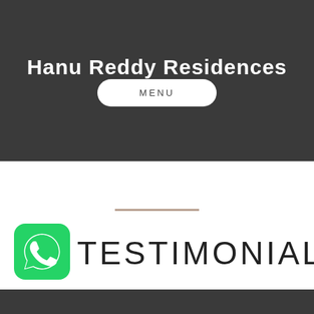Hanu Reddy Residences
MENU
TESTIMONIALS
[Figure (logo): WhatsApp logo icon — green rounded square with white phone handset inside speech bubble]